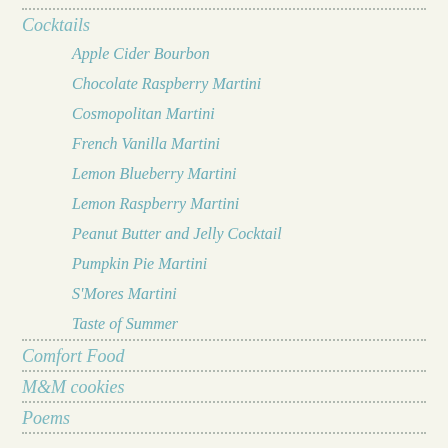Cocktails
Apple Cider Bourbon
Chocolate Raspberry Martini
Cosmopolitan Martini
French Vanilla Martini
Lemon Blueberry Martini
Lemon Raspberry Martini
Peanut Butter and Jelly Cocktail
Pumpkin Pie Martini
S'Mores Martini
Taste of Summer
Comfort Food
M&M cookies
Poems